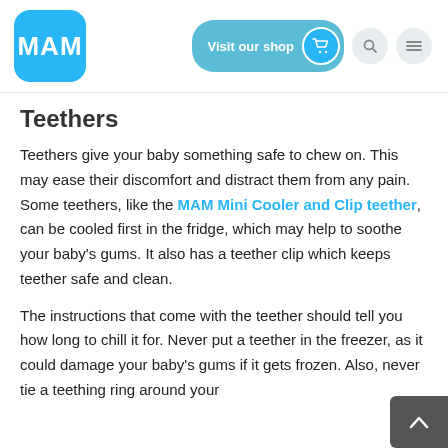[Figure (logo): MAM brand logo - white text on blue rounded square background]
[Figure (screenshot): Navigation bar with Visit our shop button, search icon, and hamburger menu icon]
Teethers
Teethers give your baby something safe to chew on. This may ease their discomfort and distract them from any pain. Some teethers, like the MAM Mini Cooler and Clip teether, can be cooled first in the fridge, which may help to soothe your baby's gums. It also has a teether clip which keeps teether safe and clean.
The instructions that come with the teether should tell you how long to chill it for. Never put a teether in the freezer, as it could damage your baby's gums if it gets frozen. Also, never tie a teething ring around your